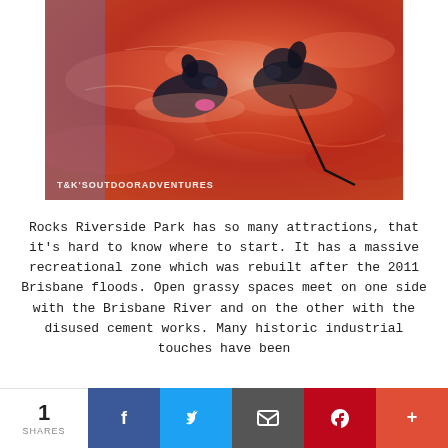[Figure (photo): Two dark-colored dogs swimming in bright orange-red colored water (likely iron-rich or algae-tinted), viewed from above. A pink disc toy visible. Credit watermark: T&K'SOUTDOORADVENTURES]
Rocks Riverside Park has so many attractions, that it's hard to know where to start. It has a massive recreational zone which was rebuilt after the 2011 Brisbane floods. Open grassy spaces meet on one side with the Brisbane River and on the other with the disused cement works. Many historic industrial touches have been
1 SHARES  [Facebook] [Twitter] [Email] [Pinterest] [More]